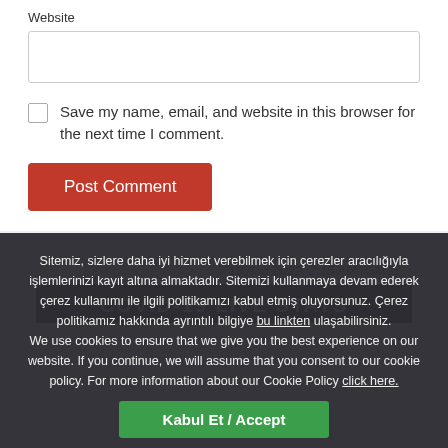Website
[Figure (screenshot): Empty text input box for website URL]
Save my name, email, and website in this browser for the next time I comment.
[Figure (screenshot): Post Comment button in red/orange]
18 Aug 2022, 2:15 AM (GMT)
[Figure (screenshot): COVID-19 LIVE STATS black banner header]
Sitemiz, sizlere daha iyi hizmet verebilmek için çerezler aracılığıyla işlemlerinizi kayıt altına almaktadır. Sitemizi kullanmaya devam ederek çerez kullanımı ile ilgili politikamızı kabul etmiş oluyorsunuz. Çerez politikamız hakkında ayrıntılı bilgiye bu linkten ulaşabilirsiniz. We use cookies to ensure that we give you the best experience on our website. If you continue, we will assume that you consent to our cookie policy. For more information about our Cookie Policy click here.
Kabul Et / Accept